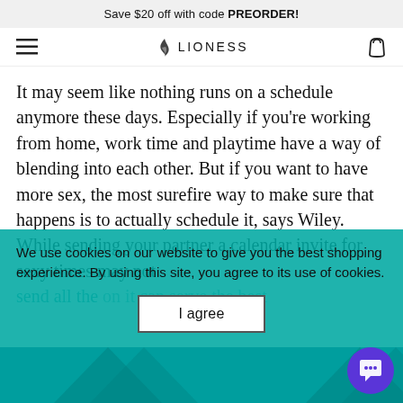Save $20 off with code PREORDER!
[Figure (screenshot): LIONESS brand navigation bar with hamburger menu, logo with flame icon, and shopping bag icon]
It may seem like nothing runs on a schedule anymore these days. Especially if you're working from home, work time and playtime have a way of blending into each other. But if you want to have more sex, the most surefire way to make sure that happens is to actually schedule it, says Wiley. While sending your partner a calendar invite for sexy times may not
We use cookies on our website to give you the best shopping experience. By using this site, you agree to its use of cookies.